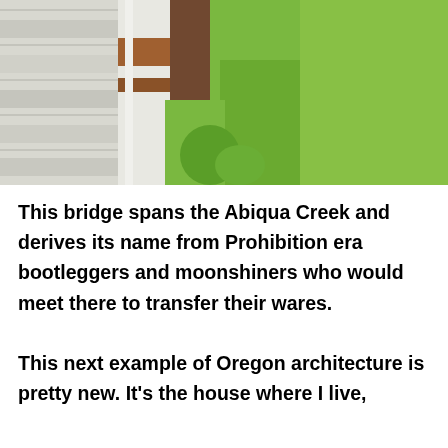[Figure (photo): Photo of a white wooden bridge railing/post close-up on the left side, with green grass and vegetation visible on the right side in the background.]
This bridge spans the Abiqua Creek and derives its name from Prohibition era bootleggers and moonshiners who would meet there to transfer their wares.

This next example of Oregon architecture is pretty new. It's the house where I live,